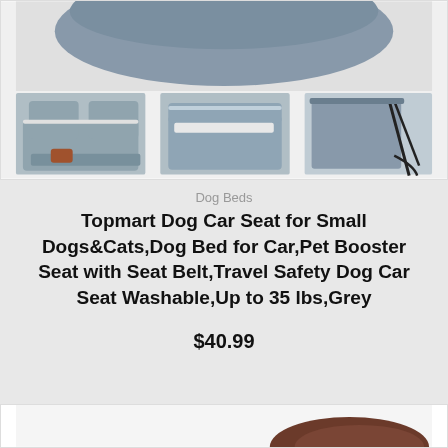[Figure (photo): Product photos showing a grey dog car seat/bed from multiple angles: a cozy sofa-style bed, a booster seat style, and the product folded with straps. Grey fabric throughout.]
Dog Beds
Topmart Dog Car Seat for Small Dogs&Cats,Dog Bed for Car,Pet Booster Seat with Seat Belt,Travel Safety Dog Car Seat Washable,Up to 35 lbs,Grey
$40.99
Buy Now
[Figure (photo): Partial view of another product at the bottom of the page, showing a dark brown/chocolate colored dog bed or similar item.]